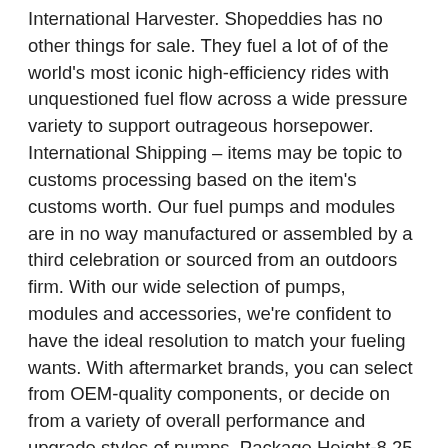International Harvester. Shopeddies has no other things for sale. They fuel a lot of of the world's most iconic high-efficiency rides with unquestioned fuel flow across a wide pressure variety to support outrageous horsepower. International Shipping – items may be topic to customs processing based on the item's customs worth. Our fuel pumps and modules are in no way manufactured or assembled by a third celebration or sourced from an outdoors firm. With our wide selection of pumps, modules and accessories, we're confident to have the ideal resolution to match your fueling wants. With aftermarket brands, you can select from OEM-quality components, or decide on from a variety of overall performance and upgrade styles of pumps. Package Height-8.25 IN, Description-Electric Fuel Pump, Package Length-2.75 IN, Function-Good quality Airtex in-tank fuel pumps deliver optimum performance although offering extended life., Package Width-2.75 IN,